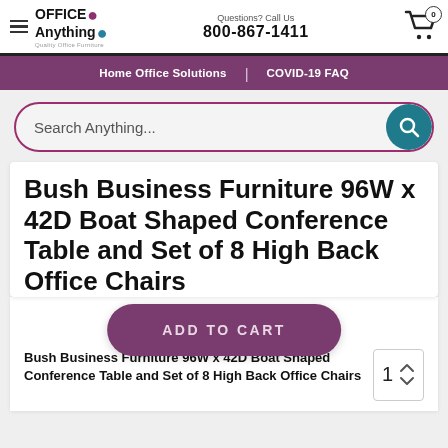OFFICE Anything — Questions? Call Us 800-867-1411
Home Office Solutions | COVID-19 FAQ
Search Anything...
Bush Business Furniture 96W x 42D Boat Shaped Conference Table and Set of 8 High Back Office Chairs
ADD TO CART
Bush Business Furniture 96W x 42D Boat Shaped Conference Table and Set of 8 High Back Office Chairs